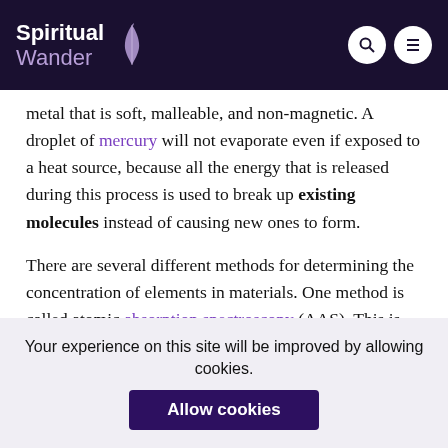Spiritual Wander
metal that is soft, malleable, and non-magnetic. A droplet of mercury will not evaporate even if exposed to a heat source, because all the energy that is released during this process is used to break up existing molecules instead of causing new ones to form.
There are several different methods for determining the concentration of elements in materials. One method is called atomic absorption spectroscopy (AAS). This is the most accurate method available for measuring very low
Your experience on this site will be improved by allowing cookies.